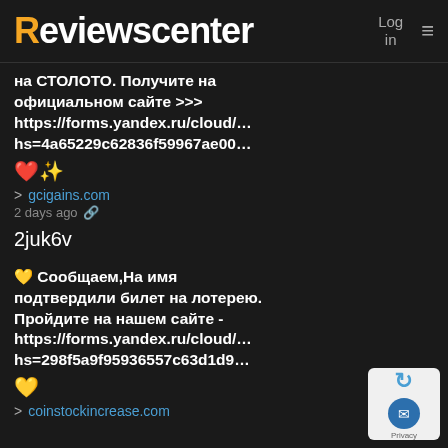Reviewscenter  Log in  ☰
на СТОЛОТО. Получите на официальном сайте >>> https://forms.yandex.ru/cloud/… hs=4a65229c62836f59967ae00…
❤️ > gcigains.com
2 days ago 🔗
2juk6v
💛 Сообщаем,На имя подтвердили билет на лотерею. Пройдите на нашем сайте - https://forms.yandex.ru/cloud/… hs=298f5a9f95936557c63d1d9…
💛 > coinstockincrease.com